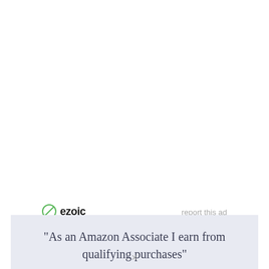[Figure (logo): Ezoic logo with green circle/slash icon and bold 'ezoic' text]
report this ad
"As an Amazon Associate I earn from qualifying purchases"
×